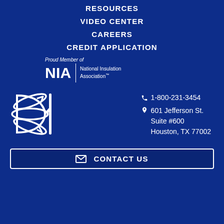RESOURCES
VIDEO CENTER
CAREERS
CREDIT APPLICATION
[Figure (logo): NIA National Insulation Association logo with 'Proud Member of' text above]
[Figure (logo): DI company logo - stylized D with arrows and vertical bar]
1-800-231-3454
601 Jefferson St. Suite #600 Houston, TX 77002
CONTACT US